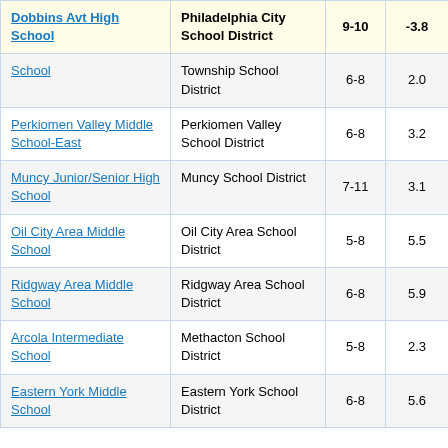| School | District | Grades | Value |
| --- | --- | --- | --- |
| Dobbins Avt High School | Philadelphia City School District | 9-10 | -3.8 |
| School | Township School District | 6-8 | 2.0 |
| Perkiomen Valley Middle School-East | Perkiomen Valley School District | 6-8 | 3.2 |
| Muncy Junior/Senior High School | Muncy School District | 7-11 | 3.1 |
| Oil City Area Middle School | Oil City Area School District | 5-8 | 5.5 |
| Ridgway Area Middle School | Ridgway Area School District | 6-8 | 5.9 |
| Arcola Intermediate School | Methacton School District | 5-8 | 2.3 |
| Eastern York Middle School | Eastern York School District | 6-8 | 5.6 |